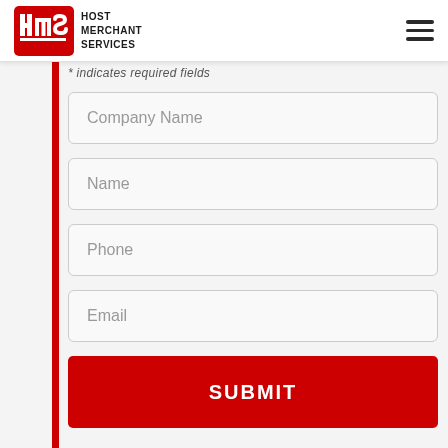Host Merchant Services
* indicates required fields
Company Name
Name
Phone
Email
SUBMIT